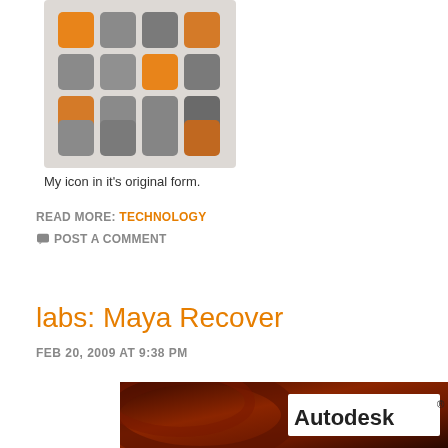[Figure (illustration): A 4x4 grid of rounded squares alternating between orange/amber and gray tones on a light gray background, forming an icon design.]
My icon in it's original form.
READ MORE: TECHNOLOGY
💬 POST A COMMENT
labs: Maya Recover
FEB 20, 2009 AT 9:38 PM
[Figure (logo): Autodesk logo on a dark reddish-brown swirling background. White text reads 'Autodesk' with registered trademark symbol.]